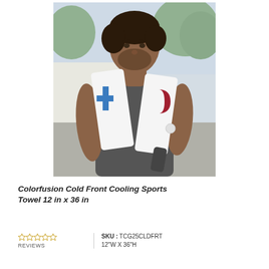[Figure (photo): A fit man wearing a grey sleeveless shirt with a white cooling sports towel draped around his neck showing blue and red brand graphics, holding a water bottle, outdoors with trees in the background.]
Colorfusion Cold Front Cooling Sports Towel 12 in x 36 in
☆☆☆☆☆ REVIEWS | SKU: TCG25CLDFRT | 12"W X 36"H